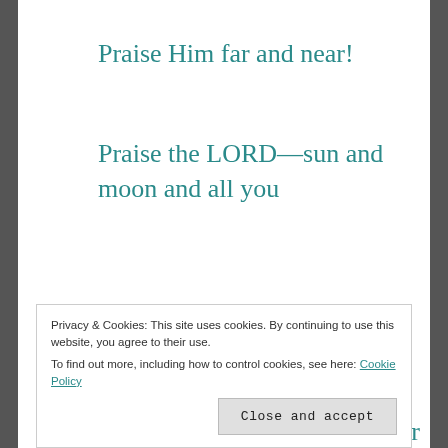Praise Him far and near!
Praise the LORD—sun and moon and all you
Twinkling starry crowns!
Praise the LORD! Every vapor—
Privacy & Cookies: This site uses cookies. By continuing to use this website, you agree to their use. To find out more, including how to control cookies, see here: Cookie Policy
Close and accept